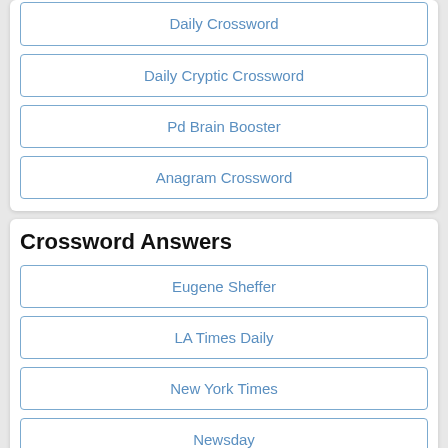Daily Cryptic Crossword
Pd Brain Booster
Anagram Crossword
Crossword Answers
Eugene Sheffer
LA Times Daily
New York Times
Newsday
The Washington Post